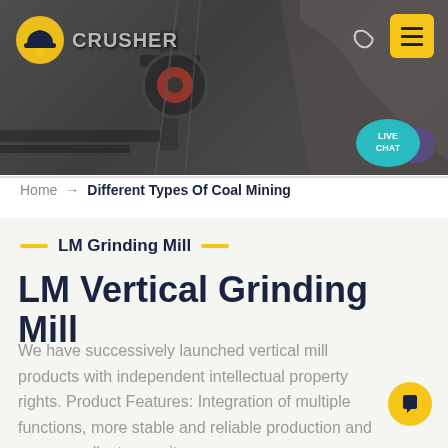[Figure (screenshot): Website header with mining/industrial background image showing crusher machinery, logo 'CRUSHER' with orange helmet icon, dark mode toggle moon icon, yellow hamburger menu button, and teal 'LIVE CHAT' speech bubble]
Home → Different Types Of Coal Mining
LM Grinding Mill
LM Vertical Grinding Mill
We have successively launched vertical mill products with independent intellectual property rights. Product Features: Integration of multiple functions, more stable and reliable production and more excellent capacity